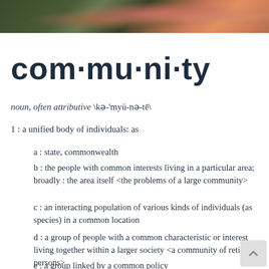[Figure (photo): Partial photo of people at the top of the page, cropped, showing colorful clothing]
com·mu·ni·ty
noun, often attributive \kə-'myü-nə-tē\
1 : a unified body of individuals: as
a : state, commonwealth
b : the people with common interests living in a particular area; broadly : the area itself <the problems of a large community>
c : an interacting population of various kinds of individuals (as species) in a common location
d : a group of people with a common characteristic or interest living together within a larger society <a community of retired persons>
e : a group linked by a common policy